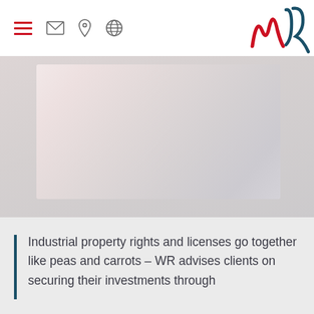Navigation bar with hamburger menu, email icon, location pin icon, globe icon, and WR logo
[Figure (photo): Hero image showing a soft light background with a white/light pink blurred rectangular shape, possibly a document or abstract photographic element]
Industrial property rights and licenses go together like peas and carrots – WR advises clients on securing their investments through